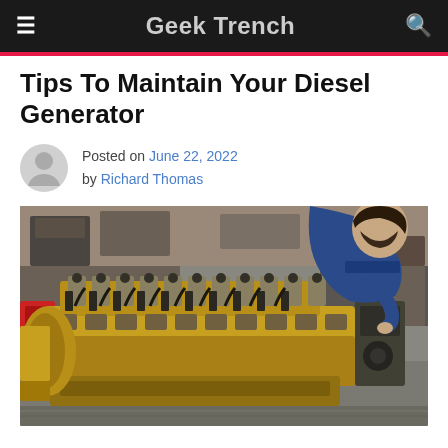Geek Trench
Tips To Maintain Your Diesel Generator
Posted on June 22, 2022 by Richard Thomas
[Figure (photo): A mechanic working on a large yellow diesel engine block in a workshop, viewed from the side showing multiple cylinders and valve components]